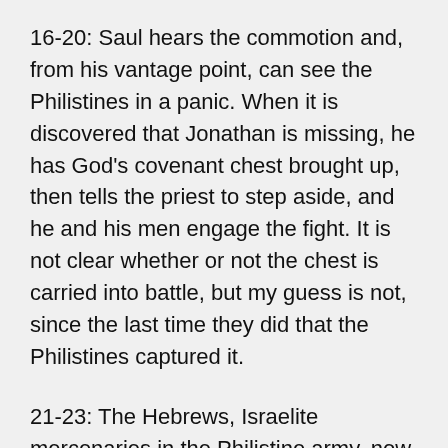16-20: Saul hears the commotion and, from his vantage point, can see the Philistines in a panic. When it is discovered that Jonathan is missing, he has God’s covenant chest brought up, then tells the priest to step aside, and he and his men engage the fight. It is not clear whether or not the chest is carried into battle, but my guess is not, since the last time they did that the Philistines captured it.
21-23: The Hebrews, Israelite mercenaries in the Philistine army, now turn against their employers and join Saul and Jonathan. Success breeds success: the refugees who...